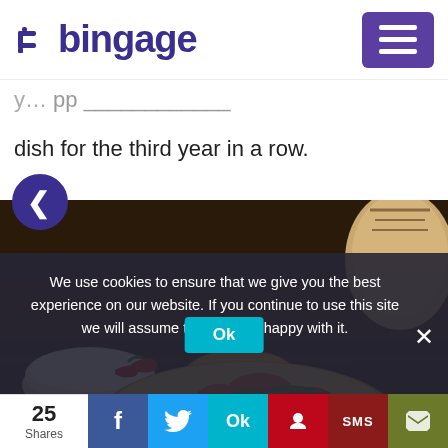[Figure (logo): Bingage logo with stylized 'b' icon and purple text]
dish for the third year in a row.
[Figure (photo): Close-up photo of biryani dish with orange chicken pieces on saffron rice, served in a dark bowl, with raita and side dishes visible on a dark wooden table]
We use cookies to ensure that we give you the best experience on our website. If you continue to use this site we will assume that you are happy with it.
25 Shares  [Facebook] [Twitter] [Ok] [Pinterest] [SMS] [Share]